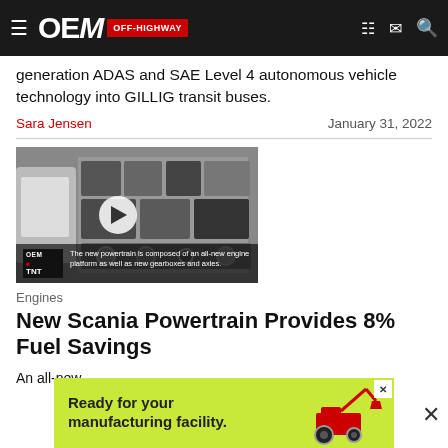OEM OFF-HIGHWAY
generation ADAS and SAE Level 4 autonomous vehicle technology into GILLIG transit buses.
Sara Jensen · January 31, 2022
[Figure (screenshot): Video thumbnail of a cutaway engine/powertrain diagram with play button overlay. OEM-TNT logo and caption: 'The new powertrain is composed of an all-new engine platform as well as new gearboxes and axles.']
Engines
New Scania Powertrain Provides 8% Fuel Savings
An all-new engine platform supporting multiple fuel types combined with new drivetrain components provides fuel
[Figure (infographic): Advertisement banner: 'Ready for your manufacturing facility.' with tractor image on lime green background.]